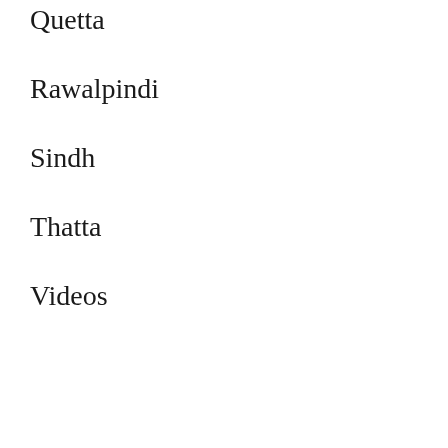Quetta
Rawalpindi
Sindh
Thatta
Videos